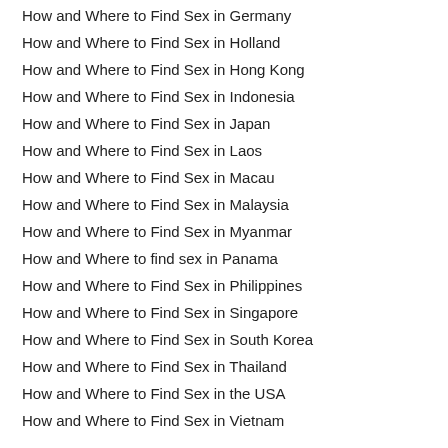How and Where to Find Sex in Germany
How and Where to Find Sex in Holland
How and Where to Find Sex in Hong Kong
How and Where to Find Sex in Indonesia
How and Where to Find Sex in Japan
How and Where to Find Sex in Laos
How and Where to Find Sex in Macau
How and Where to Find Sex in Malaysia
How and Where to Find Sex in Myanmar
How and Where to find sex in Panama
How and Where to Find Sex in Philippines
How and Where to Find Sex in Singapore
How and Where to Find Sex in South Korea
How and Where to Find Sex in Thailand
How and Where to Find Sex in the USA
How and Where to Find Sex in Vietnam